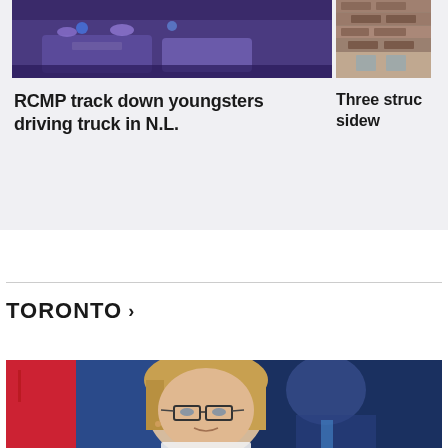[Figure (photo): Purple-tinted police vehicle at night scene, top portion visible]
RCMP track down youngsters driving truck in N.L.
[Figure (photo): Small thumbnail image, partially visible on right side, brick or building exterior]
Three struc sidew
TORONTO >
[Figure (photo): Woman with blonde hair and glasses speaking at press conference, Ontario flag in background, man in suit blurred behind her]